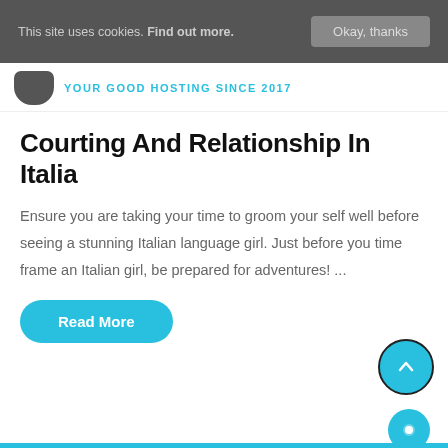This site uses cookies. Find out more. Okay, thanks
YOUR GOOD HOSTING SINCE 2017
Courting And Relationship In Italia
Ensure you are taking your time to groom your self well before seeing a stunning Italian language girl. Just before you time frame an Italian girl, be prepared for adventures! ...
Read More